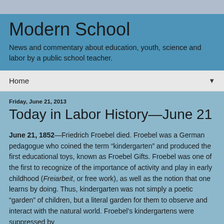Modern School
News and commentary about education, youth, science and labor by a public school teacher.
Home
Friday, June 21, 2013
Today in Labor History—June 21
June 21, 1852—Friedrich Froebel died. Froebel was a German pedagogue who coined the term “kindergarten” and produced the first educational toys, known as Froebel Gifts. Froebel was one of the first to recognize of the importance of activity and play in early childhood (Freiarbeit, or free work), as well as the notion that one learns by doing. Thus, kindergarten was not simply a poetic “garden” of children, but a literal garden for them to observe and interact with the natural world. Froebel’s kindergartens were suppressed by